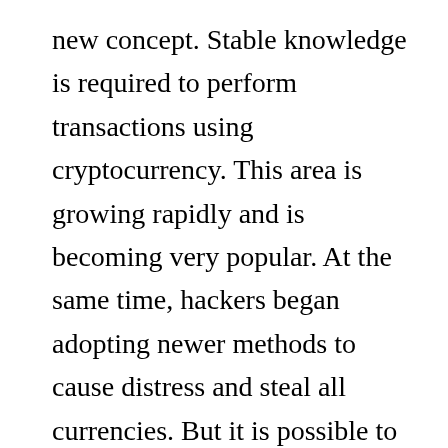new concept. Stable knowledge is required to perform transactions using cryptocurrency. This area is growing rapidly and is becoming very popular. At the same time, hackers began adopting newer methods to cause distress and steal all currencies. But it is possible to provide safeguards for digital currencies to avoid huge …
Continue reading →